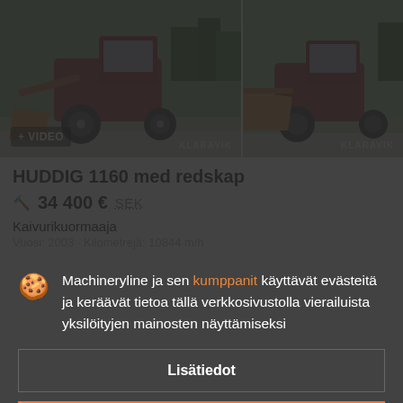[Figure (photo): Two photos of a HUDDIG 1160 backhoe loader/wheel loader with bucket attachment, outdoors. Left photo has '+ VIDEO' badge and KLARAVIK watermark. Right photo also has KLARAVIK watermark.]
HUDDIG 1160 med redskap
🔨 34 400 € SEK
Kaivurikuormaaja
Vuosi: 2003 · Kilometrejä: 10844 m/h
Machineryline ja sen kumppanit käyttävät evästeitä ja keräävät tietoa tällä verkkosivustolla vierailuista yksilöityjen mainosten näyttämiseksi
Lisätiedot
Hyväksy ja sulje